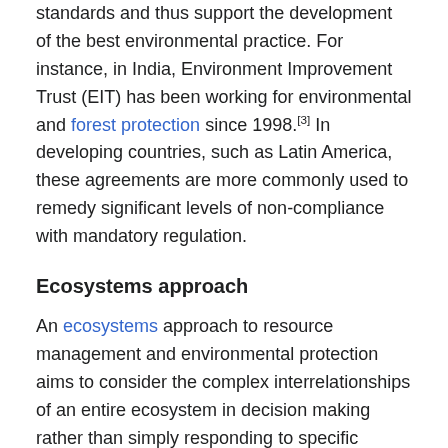standards and thus support the development of the best environmental practice. For instance, in India, Environment Improvement Trust (EIT) has been working for environmental and forest protection since 1998.[3] In developing countries, such as Latin America, these agreements are more commonly used to remedy significant levels of non-compliance with mandatory regulation.
Ecosystems approach
An ecosystems approach to resource management and environmental protection aims to consider the complex interrelationships of an entire ecosystem in decision making rather than simply responding to specific issues and challenges. Ideally, the decision-making processes under such an approach would be a collaborative approach to planning and decision making that involves a broad range of stakeholders across all relevant governmental departments, as well as industry representatives, environmental groups, and community. This approach ideally supports a better exchange